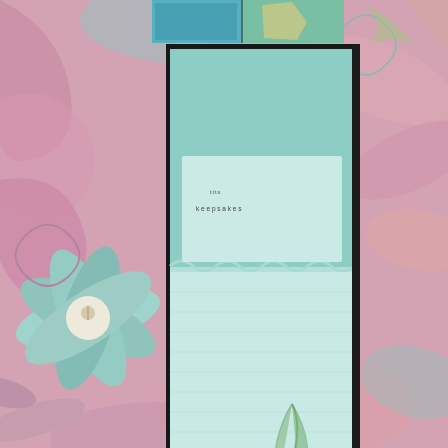[Figure (photo): Background colorful floral/swirl artwork in pastel pinks, blues, and teals covering the entire page]
[Figure (photo): Photograph of a journal/book showing teal/green pages with scalloped pocket and a feather decoration, with handwritten text 'keepsakes']
creating pockets and 'favourite flower'
It's a prettier and less quirky version of 'This is Not a Book' by Ken Smith which I liked better but 'My Lovely Book' is suitable for the season and after writing a-blogpost-a-day during May I welcomed the simplicity of it. There's a link below of tiny people using it.
Each time I read the cover I think of the Craggy Island fathers singing a song for the Eurovision entitled 'My Lovely